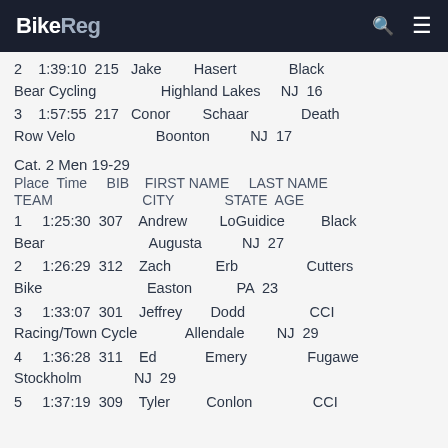BikeReg
2   1:39:10  215  Jake    Hasert    Black Bear Cycling    Highland Lakes    NJ  16
3   1:57:55  217  Conor    Schaar    Death Row Velo    Boonton    NJ  17
Cat. 2 Men 19-29
| Place | Time | BIB | FIRST NAME | LAST NAME | TEAM | CITY | STATE | AGE |
| --- | --- | --- | --- | --- | --- | --- | --- | --- |
| 1 | 1:25:30 | 307 | Andrew | LoGuidice | Black Bear | Augusta | NJ | 27 |
| 2 | 1:26:29 | 312 | Zach | Erb | Cutters Bike | Easton | PA | 23 |
| 3 | 1:33:07 | 301 | Jeffrey | Dodd | CCI Racing/Town Cycle | Allendale | NJ | 29 |
| 4 | 1:36:28 | 311 | Ed | Emery | Fugawe | Stockholm | NJ | 29 |
| 5 | 1:37:19 | 309 | Tyler | Conlon | CCI |  |  |  |